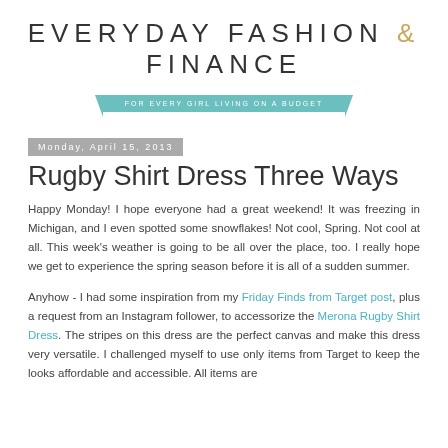EVERYDAY FASHION & FINANCE
FOR EVERY GIRL LIVING ON A BUDGET
Monday, April 15, 2013
Rugby Shirt Dress Three Ways
Happy Monday! I hope everyone had a great weekend! It was freezing in Michigan, and I even spotted some snowflakes! Not cool, Spring. Not cool at all. This week's weather is going to be all over the place, too. I really hope we get to experience the spring season before it is all of a sudden summer.
Anyhow - I had some inspiration from my Friday Finds from Target post, plus a request from an Instagram follower, to accessorize the Merona Rugby Shirt Dress. The stripes on this dress are the perfect canvas and make this dress very versatile. I challenged myself to use only items from Target to keep the looks affordable and accessible. All items are